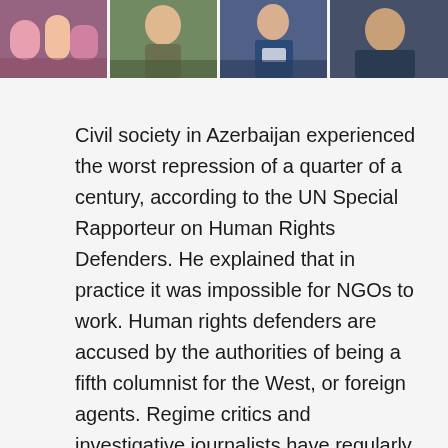[Figure (photo): Strip of four photos showing people in various settings, related to civil society in Azerbaijan]
Civil society in Azerbaijan experienced the worst repression of a quarter of a century, according to the UN Special Rapporteur on Human Rights Defenders. He explained that in practice it was impossible for NGOs to work. Human rights defenders are accused by the authorities of being a fifth columnist for the West, or foreign agents. Regime critics and investigative journalists have regularly been arrested and sentenced to prison.
Oil and gas exports accounted for three quarters of the country's economy, but the low oil prices over a couple of years have led to severe economic crisis with growing budget deficits and unemployment. In